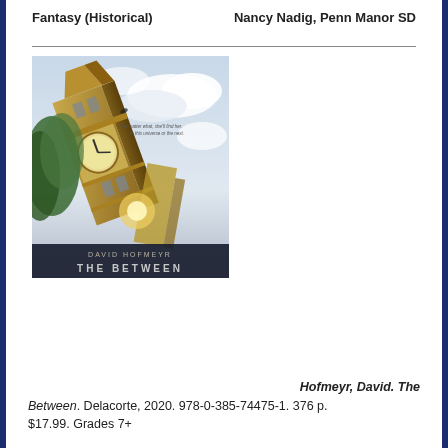Fantasy (Historical)    Nancy Nadig, Penn Manor SD
[Figure (illustration): Book cover of 'The Between' by David Hofmeyr showing Big Ben and London architecture tilted at a dramatic angle amid clouds, with the title text 'THE BETWEEN' and author name 'DAVID HOFMEYR' at the bottom.]
Hofmeyr, David. The Between. Delacorte, 2020. 978-0-385-74475-1. 376 p. $17.99. Grades 7+